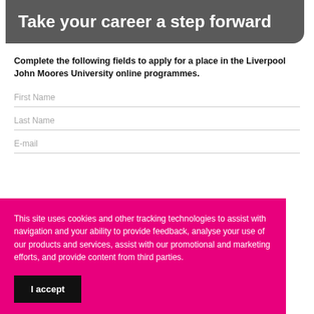Take your career a step forward
Complete the following fields to apply for a place in the Liverpool John Moores University online programmes.
First Name
Last Name
E-mail
This site uses cookies and other tracking technologies to assist with navigation and your ability to provide feedback, analyse your use of our products and services, assist with our promotional and marketing efforts, and provide content from third parties.
I accept